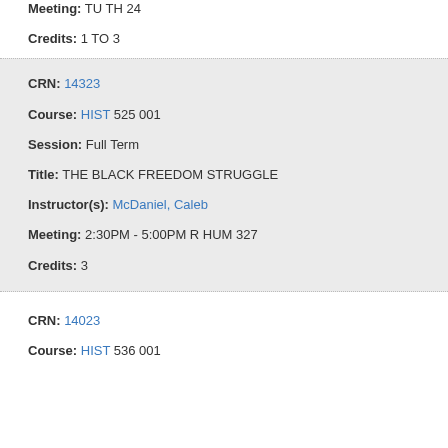Meeting: TU TH 24
Credits: 1 TO 3
CRN: 14323
Course: HIST 525 001
Session: Full Term
Title: THE BLACK FREEDOM STRUGGLE
Instructor(s): McDaniel, Caleb
Meeting: 2:30PM - 5:00PM R HUM 327
Credits: 3
CRN: 14023
Course: HIST 536 001